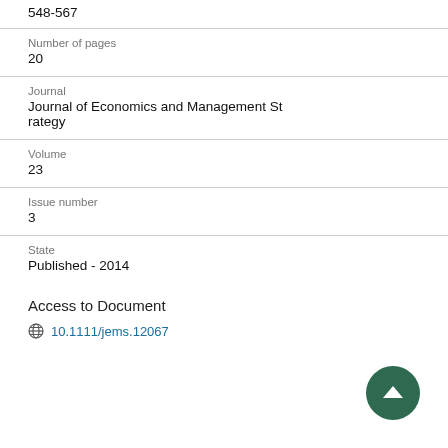548-567
Number of pages
20
Journal
Journal of Economics and Management Strategy
Volume
23
Issue number
3
State
Published - 2014
Access to Document
10.1111/jems.12067